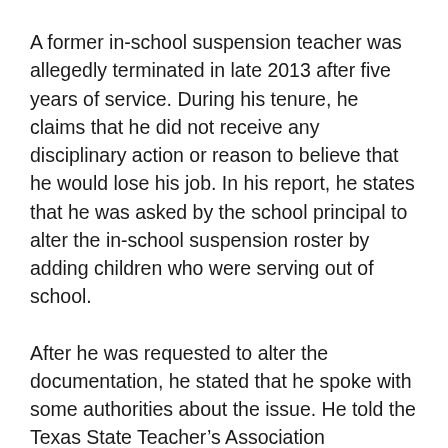A former in-school suspension teacher was allegedly terminated in late 2013 after five years of service. During his tenure, he claims that he did not receive any disciplinary action or reason to believe that he would lose his job. In his report, he states that he was asked by the school principal to alter the in-school suspension roster by adding children who were serving out of school.
After he was requested to alter the documentation, he stated that he spoke with some authorities about the issue. He told the Texas State Teacher’s Association representative what the principal had asked him to do. Additionally, he spoke to a state education agency to further research the attendance fraud claims.